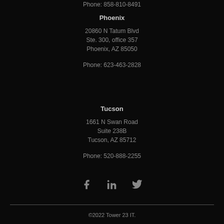Phone: 858-810-8491
Phoenix
20860 N Tatum Blvd
Ste. 300, office 357
Phoenix, AZ 85050
Phone: 623-463-2828
Tucson
1661 N Swan Road
Suite 238B
Tucson, AZ 85712
Phone: 520-888-2255
[Figure (illustration): Social media icons: Facebook, LinkedIn, Twitter]
©2022 Tower 23 IT.